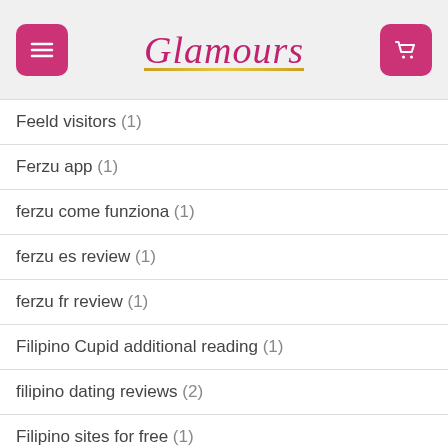Glamours
Feeld visitors (1)
Ferzu app (1)
ferzu come funziona (1)
ferzu es review (1)
ferzu fr review (1)
Filipino Cupid additional reading (1)
filipino dating reviews (2)
Filipino sites for free (1)
filipinocupid podepsat (1)
find a bride (1)